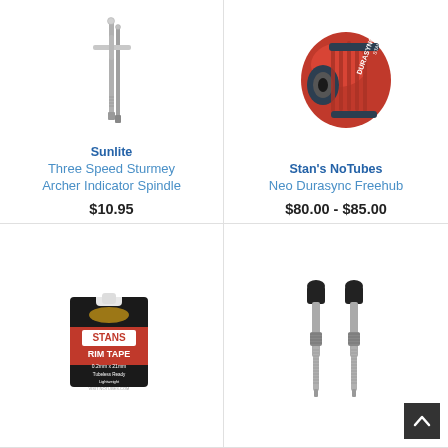[Figure (photo): Sunlite Three Speed Sturmey Archer Indicator Spindle — metal spindle with cross-shaped fitting]
Sunlite
Three Speed Sturmey Archer Indicator Spindle
$10.95
[Figure (photo): Stan's NoTubes Neo Durasync Freehub — red anodized aluminum freehub body]
Stan's NoTubes
Neo Durasync Freehub
$80.00 - $85.00
[Figure (photo): Stan's NoTubes Rim Tape — packaged roll of yellow rim tape in black and red box]
[Figure (photo): Two tubeless valve stems, silver/nickel colored with black caps]